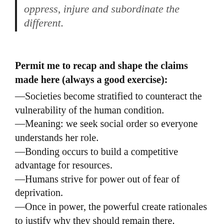oppress, injure and subordinate the different.
Permit me to recap and shape the claims made here (always a good exercise): —Societies become stratified to counteract the vulnerability of the human condition. —Meaning: we seek social order so everyone understands her role. —Bonding occurs to build a competitive advantage for resources. —Humans strive for power out of fear of deprivation. —Once in power, the powerful create rationales to justify why they should remain there. —One such myth is that those who have the resources DESERVE those resources (by Divine